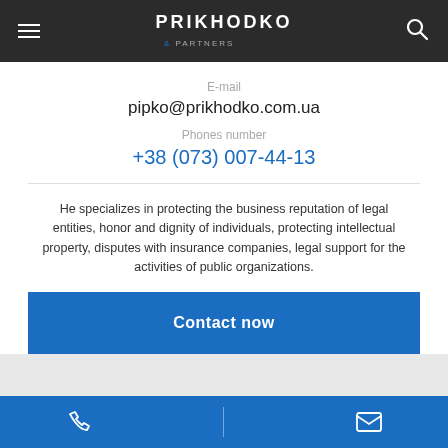PRIKHODKO & PARTNERS
E-mail
pipko@prikhodko.com.ua
Phones number
+38 (073) 007-44-13
He specializes in protecting the business reputation of legal entities, honor and dignity of individuals, protecting intellectual property, disputes with insurance companies, legal support for the activities of public organizations.
Contact now